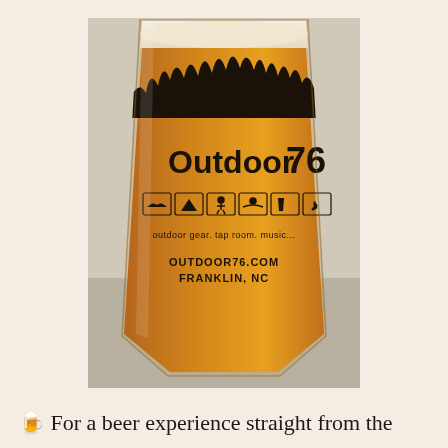[Figure (photo): A pint glass filled with amber/golden beer. The glass has 'Outdoor 76' printed on it with a forest treeline silhouette graphic, five activity icons (outdoor gear, tap room, music), and text reading 'outdoor gear. tap room. music' along with 'OUTDOOR76.COM FRANKLIN, NC'.]
🍺 For a beer experience straight from the